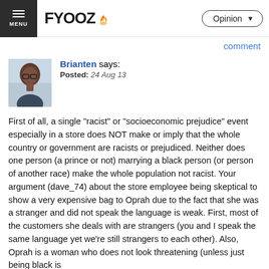MENU | FYOOZ | Opinion
comment
Brianten says:
Posted: 24 Aug 13

First of all, a single "racist" or "socioeconomic prejudice" event especially in a store does NOT make or imply that the whole country or government are racists or prejudiced. Neither does one person (a prince or not) marrying a black person (or person of another race) make the whole population not racist. Your argument (dave_74) about the store employee being skeptical to show a very expensive bag to Oprah due to the fact that she was a stranger and did not speak the language is weak. First, most of the customers she deals with are strangers (you and I speak the same language yet we're still strangers to each other). Also, Oprah is a woman who does not look threatening (unless just being black is